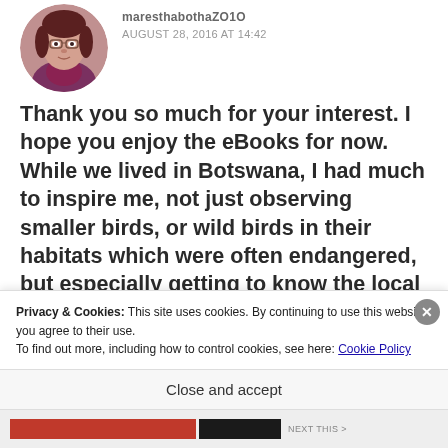[Figure (photo): Circular avatar photo of a woman with glasses and reddish-purple clothing]
maresthabothaZO1O
AUGUST 28, 2016 AT 14:42
Thank you so much for your interest. I hope you enjoy the eBooks for now. While we lived in Botswana, I had much to inspire me, not just observing smaller birds, or wild birds in their habitats which were often endangered, but especially getting to know the local folks who lived around us. Many of them reappeared as one of the characters
Privacy & Cookies: This site uses cookies. By continuing to use this website, you agree to their use.
To find out more, including how to control cookies, see here: Cookie Policy
Close and accept